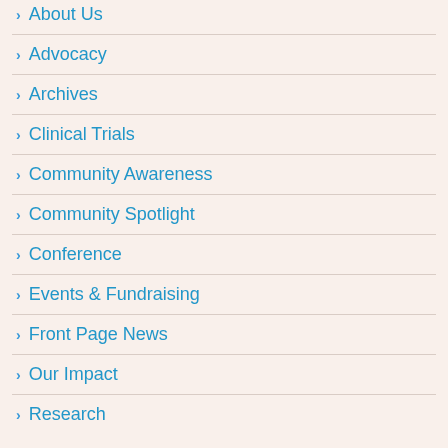About Us
Advocacy
Archives
Clinical Trials
Community Awareness
Community Spotlight
Conference
Events & Fundraising
Front Page News
Our Impact
Research